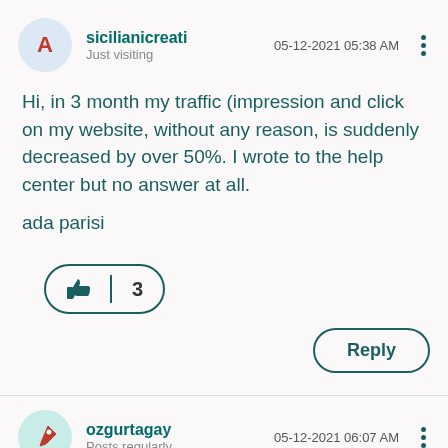sicilianicreati
Just visiting
05-12-2021 05:38 AM
Hi, in 3 month my traffic (impression and click on my website, without any reason, is suddenly decreased by over 50%. I wrote to the help center but no answer at all.
ada parisi
[Figure (other): Like button with thumbs up icon and count of 3]
[Figure (other): Reply button]
ozgurtagay
Posts regularly
05-12-2021 06:07 AM